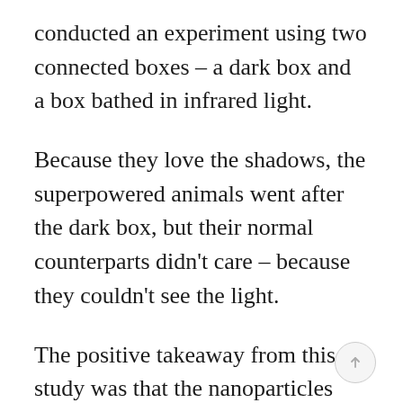conducted an experiment using two connected boxes – a dark box and a box bathed in infrared light.
Because they love the shadows, the superpowered animals went after the dark box, but their normal counterparts didn't care – because they couldn't see the light.
The positive takeaway from this study was that the nanoparticles didn't cause any problems for the mice's vision and didn't affect their